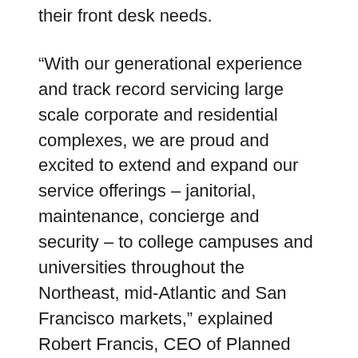their front desk needs.
“With our generational experience and track record servicing large scale corporate and residential complexes, we are proud and excited to extend and expand our service offerings – janitorial, maintenance, concierge and security – to college campuses and universities throughout the Northeast, mid-Atlantic and San Francisco markets,” explained Robert Francis, CEO of Planned Companies.
Providing the highest quality cleaning, Planned’s janitorial and maintenance